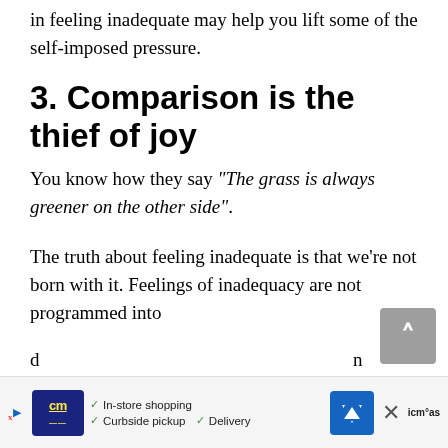in feeling inadequate may help you lift some of the self-imposed pressure.
3. Comparison is the thief of joy
You know how they say "The grass is always greener on the other side".
The truth about feeling inadequate is that we're not born with it. Feelings of inadequacy are not programmed into